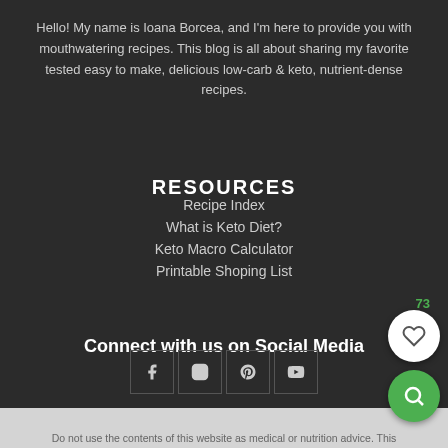Hello! My name is Ioana Borcea, and I'm here to provide you with mouthwatering recipes. This blog is all about sharing my favorite tested easy to make, delicious low-carb & keto, nutrient-dense recipes.
RESOURCES
Recipe Index
What is Keto Diet?
Keto Macro Calculator
Printable Shoping List
Connect with us on Social Media
[Figure (other): Social media icons: Facebook, Instagram, Pinterest, YouTube in bordered boxes]
Do not use the contents of this website as medical or nutrition advice. This